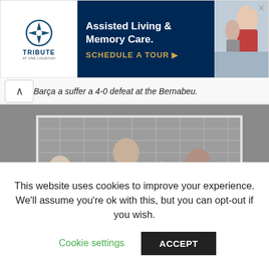[Figure (infographic): Advertisement banner for Tribute At One Loudoun Assisted Living & Memory Care with schedule a tour CTA and image of elderly person with caregiver]
Barça a suffer a 4-0 defeat at the Bernabeu.
[Figure (photo): Black and white action photo of a soccer/football match showing players in white Real Madrid kits and one player in blue and red Barcelona kit competing near the goal]
This website uses cookies to improve your experience. We'll assume you're ok with this, but you can opt-out if you wish.
Cookie settings
ACCEPT